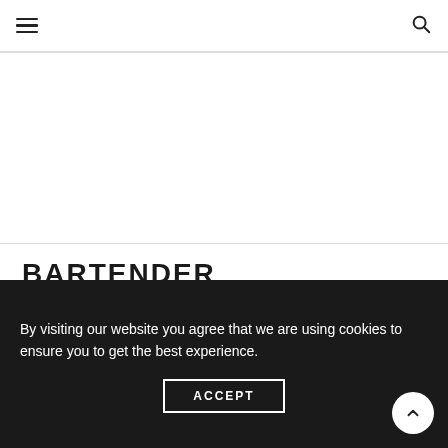Navigation header with hamburger menu and search icon
BARTENDER
ABOUT
GET THE NEWSLETTER
SUBSCRIBE TO BARTENDER
By visiting our website you agree that we are using cookies to ensure you to get the best experience.
ACCEPT